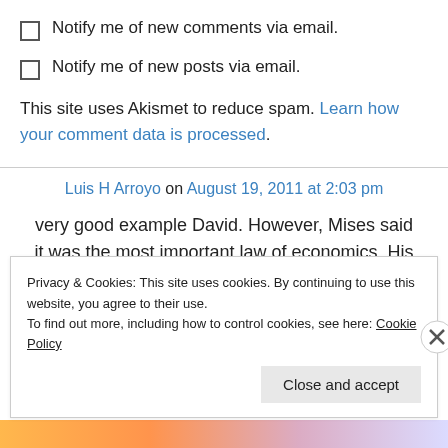Notify me of new comments via email.
Notify me of new posts via email.
This site uses Akismet to reduce spam. Learn how your comment data is processed.
Luis H Arroyo on August 19, 2011 at 2:03 pm
very good example David. However, Mises said it was the most important law of economics. His
Privacy & Cookies: This site uses cookies. By continuing to use this website, you agree to their use.
To find out more, including how to control cookies, see here: Cookie Policy
Close and accept